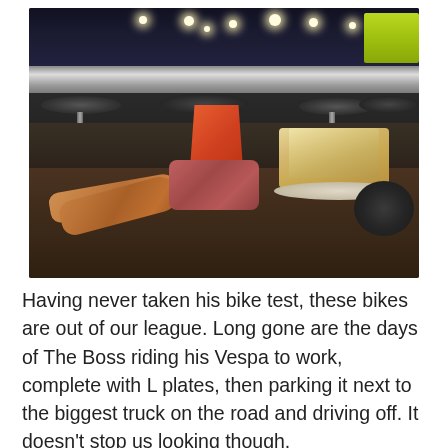[Figure (photo): Photo of a breakfast spread on a dark wooden table in what appears to be a motorcycle cafe. An orange/red mug/cup sits in the center of the table. To the right is a plate with toast/sandwiches. In the foreground are sausages, bacon/meat, and a dark round item. In the background are chrome bar stools with black leather seats, reflective chrome railings, and the cafe interior with overhead lights. A yellow high-visibility jacket is visible in the upper right corner.]
Having never taken his bike test, these bikes are out of our league. Long gone are the days of The Boss riding his Vespa to work, complete with L plates, then parking it next to the biggest truck on the road and driving off. It doesn't stop us looking though.